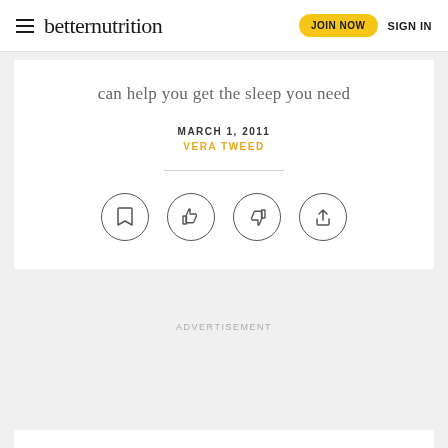betternutrition | JOIN NOW | SIGN IN
can help you get the sleep you need
MARCH 1, 2011
VERA TWEED
[Figure (other): Four circular icon buttons: bookmark, thumbs up, thumbs down, share]
ADVERTISEMENT